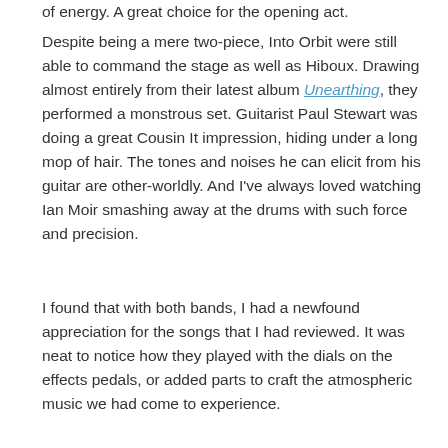of energy. A great choice for the opening act.
Despite being a mere two-piece, Into Orbit were still able to command the stage as well as Hiboux. Drawing almost entirely from their latest album Unearthing, they performed a monstrous set. Guitarist Paul Stewart was doing a great Cousin It impression, hiding under a long mop of hair. The tones and noises he can elicit from his guitar are other-worldly. And I've always loved watching Ian Moir smashing away at the drums with such force and precision.
I found that with both bands, I had a newfound appreciation for the songs that I had reviewed. It was neat to notice how they played with the dials on the effects pedals, or added parts to craft the atmospheric music we had come to experience.